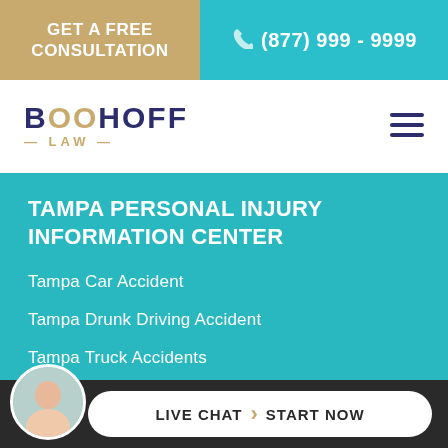GET A FREE CONSULTATION | (877) 999 - 9999
[Figure (logo): Boohoff Law logo with dark blue and gold text]
TAMPA PERSONAL INJURY INFORMATION CENTER
Tampa Car Accident
Tampa Drunk Driving Accident
Tampa Truck Accidents
Tampa Motorcycle Accident
Tampa Bus Accident
LIVE CHAT  START NOW